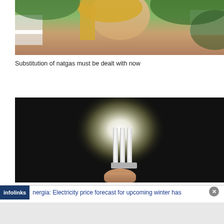[Figure (photo): Woman with blonde hair sitting in front of green foliage/plants, looking to the side]
Substitution of natgas must be dealt with now
[Figure (photo): Dark background with a glowing energy-saving light bulb being held by a hand]
infolinks nergia: Electricity price forecast for upcoming winter has